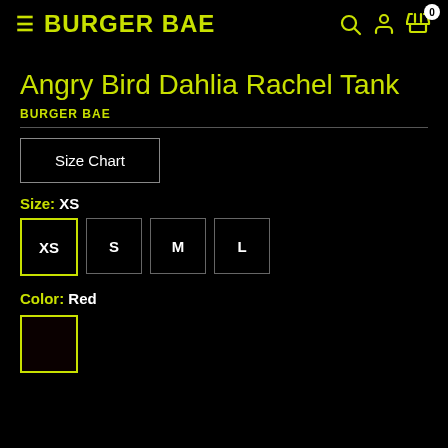≡ BURGER BAE [search] [account] [cart 0]
Angry Bird Dahlia Rachel Tank
BURGER BAE
Size Chart
Size: XS
XS  S  M  L
Color: Red